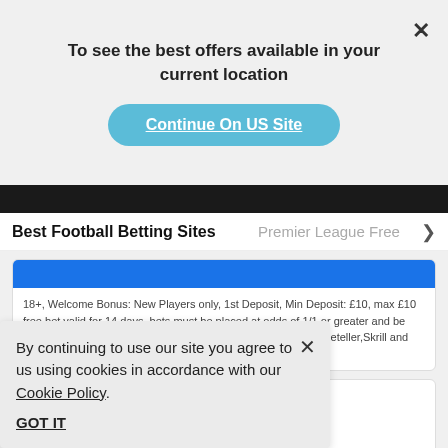To see the best offers available in your current location
Continue On US Site
Best Football Betting Sites
Premier League Free
18+, Welcome Bonus: New Players only, 1st Deposit, Min Deposit: £10, max £10 free bet valid for 14 days, bets must be placed at odds of 1/1 or greater and be settled within 14 days of placement. System bets not eligible. Neteller,Skrill and Paypal not eligible. T&Cs apply
[Figure (logo): Three orange donut/ring shapes (brand logo)]
£30 In Free Bets + £10 Casino Bonus
By continuing to use our site you agree to us using cookies in accordance with our Cookie Policy.
GOT IT